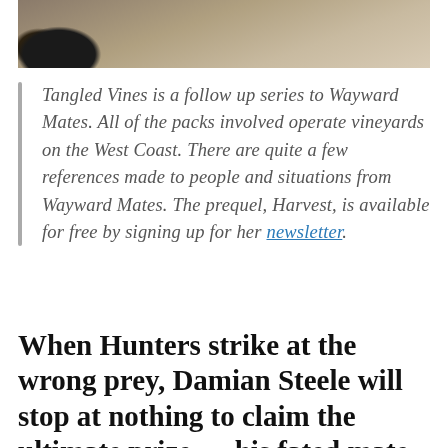[Figure (photo): Partial top photo showing what appears to be a dark animal and stone/rock background, cropped at the bottom edge.]
Tangled Vines is a follow up series to Wayward Mates. All of the packs involved operate vineyards on the West Coast. There are quite a few references made to people and situations from Wayward Mates. The prequel, Harvest, is available for free by signing up for her newsletter.
When Hunters strike at the wrong prey, Damian Steele will stop at nothing to claim the ultimate prize — his fated mate